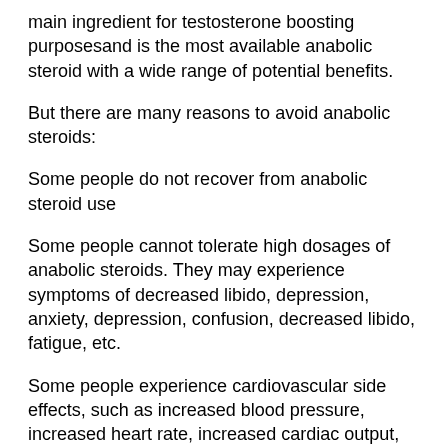main ingredient for testosterone boosting purposesand is the most available anabolic steroid with a wide range of potential benefits.
But there are many reasons to avoid anabolic steroids:
Some people do not recover from anabolic steroid use
Some people cannot tolerate high dosages of anabolic steroids. They may experience symptoms of decreased libido, depression, anxiety, depression, confusion, decreased libido, fatigue, etc.
Some people experience cardiovascular side effects, such as increased blood pressure, increased heart rate, increased cardiac output, etc, crazy bulk cutting